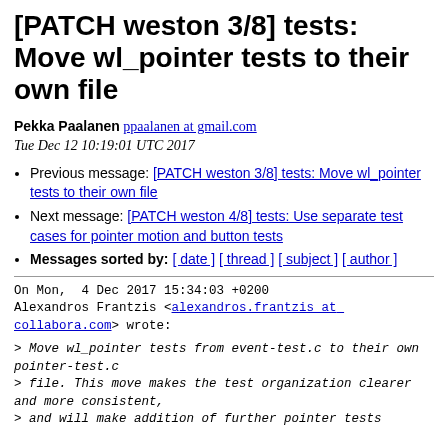[PATCH weston 3/8] tests: Move wl_pointer tests to their own file
Pekka Paalanen ppaalanen at gmail.com
Tue Dec 12 10:19:01 UTC 2017
Previous message: [PATCH weston 3/8] tests: Move wl_pointer tests to their own file
Next message: [PATCH weston 4/8] tests: Use separate test cases for pointer motion and button tests
Messages sorted by: [ date ] [ thread ] [ subject ] [ author ]
On Mon,  4 Dec 2017 15:34:03 +0200
Alexandros Frantzis <alexandros.frantzis at collabora.com> wrote:
> Move wl_pointer tests from event-test.c to their own pointer-test.c
> file. This move makes the test organization clearer and more consistent,
> and will make addition of further pointer tests